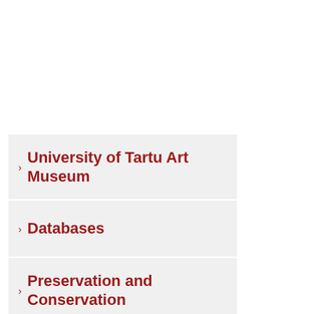› University of Tartu Art Museum
› Databases
› Preservation and Conservation
› Science Projects
› Publications